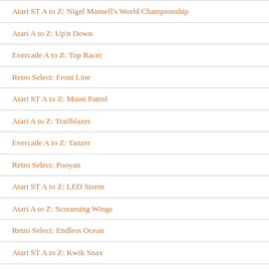Atari ST A to Z: Nigel Mansell's World Championship
Atari A to Z: Up'n Down
Evercade A to Z: Top Racer
Retro Select: Front Line
Atari ST A to Z: Moon Patrol
Atari A to Z: Trailblazer
Evercade A to Z: Tanzer
Retro Select: Pooyan
Atari ST A to Z: LED Storm
Atari A to Z: Screaming Wings
Retro Select: Endless Ocean
Atari ST A to Z: Kwik Snax